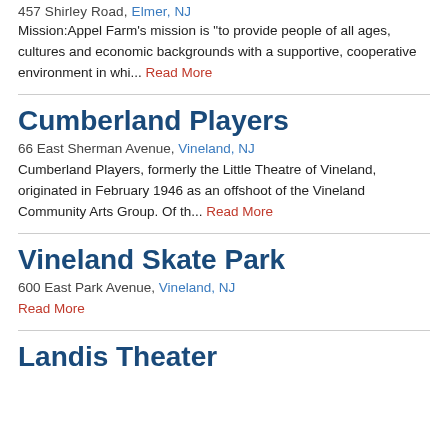457 Shirley Road, Elmer, NJ
Mission:Appel Farm's mission is "to provide people of all ages, cultures and economic backgrounds with a supportive, cooperative environment in whi... Read More
Cumberland Players
66 East Sherman Avenue, Vineland, NJ
Cumberland Players, formerly the Little Theatre of Vineland, originated in February 1946 as an offshoot of the Vineland Community Arts Group. Of th... Read More
Vineland Skate Park
600 East Park Avenue, Vineland, NJ
Read More
Landis Theater